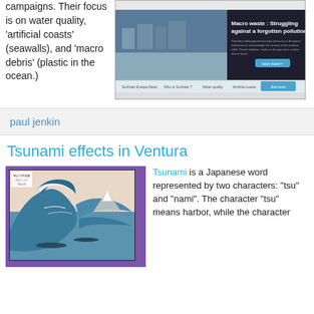campaigns. Their focus is on water quality, 'artificial coasts' (seawalls), and 'macro debris' (plastic in the ocean.)
[Figure (screenshot): Screenshot of a website about 'Macro waste: Struggling against a forgotten pollution' with an image of a polluted coastline and navigation tabs.]
paul jenkin
Tsunami effects in Ventura
[Figure (photo): The Great Wave off Kanagawa - famous Japanese woodblock print showing a large ocean wave with Mount Fuji in the background, displayed in a purple-bordered frame.]
Tsunami is a Japanese word represented by two characters: "tsu" and "nami". The character "tsu" means harbor, while the character "nami" means...